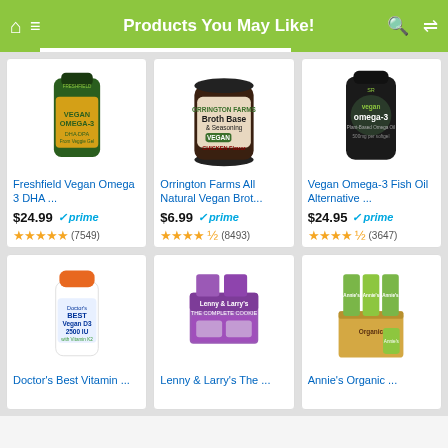Products You May Like!
[Figure (photo): Freshfield Vegan Omega 3 DHA supplement bottle]
Freshfield Vegan Omega 3 DHA ...
$24.99 prime
★★★★★ (7549)
[Figure (photo): Orrington Farms All Natural Vegan Broth Base & Seasoning jar]
Orrington Farms All Natural Vegan Brot...
$6.99 prime
★★★★½ (8493)
[Figure (photo): Vegan Omega-3 Fish Oil Alternative supplement bottle]
Vegan Omega-3 Fish Oil Alternative ...
$24.95 prime
★★★★½ (3647)
[Figure (photo): Doctor's Best Vitamin D3 2500 IU vegan supplement bottle]
Doctor's Best Vitamin ...
[Figure (photo): Lenny & Larry's The Complete Cookie box]
Lenny & Larry's The ...
[Figure (photo): Annie's Organic product box set]
Annie's Organic ...